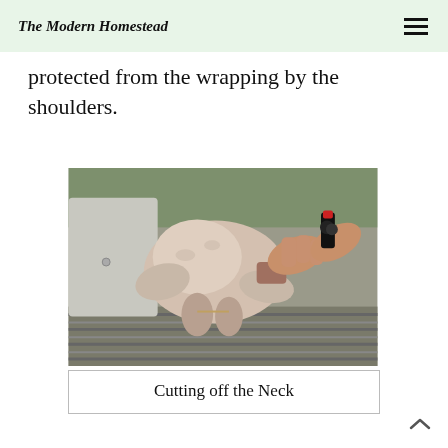The Modern Homestead
protected from the wrapping by the shoulders.
[Figure (photo): A whole plucked chicken lying on a metal surface (truck tailgate with ridges), with a person's hands using shears/scissors to cut off the neck. A black and red handled tool is visible in the right hand.]
Cutting off the Neck